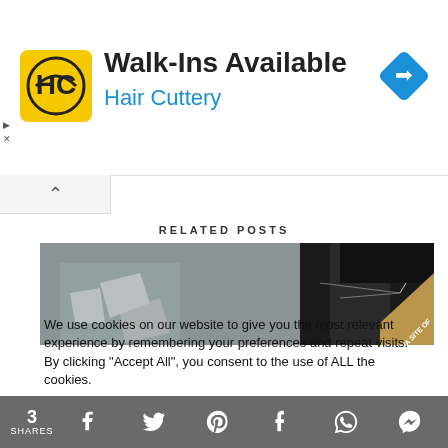[Figure (screenshot): Hair Cuttery advertisement banner with yellow HC logo, title 'Walk-Ins Available', subtitle 'Hair Cuttery' in blue, and a blue navigation diamond icon on the right]
[Figure (photo): Street alley photo showing urban buildings, dark architectural elements, with MWA Site Of badge in corner]
RELATED POSTS
We use cookies on our website to give you the most relevant experience by remembering your preferences and repeat visits. By clicking “Accept All”, you consent to the use of ALL the cookies.
[Figure (other): Accept All button (purple/violet background, white text)]
3 SHARES [Facebook] [Twitter] [Pinterest] [Tumblr] [WhatsApp] [Messenger]